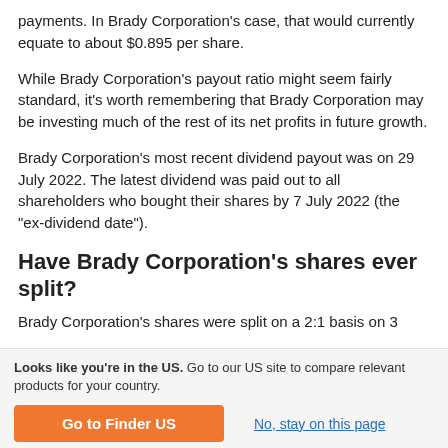payments. In Brady Corporation's case, that would currently equate to about $0.895 per share.
While Brady Corporation's payout ratio might seem fairly standard, it's worth remembering that Brady Corporation may be investing much of the rest of its net profits in future growth.
Brady Corporation's most recent dividend payout was on 29 July 2022. The latest dividend was paid out to all shareholders who bought their shares by 7 July 2022 (the "ex-dividend date").
Have Brady Corporation's shares ever split?
Brady Corporation's shares were split on a 2:1 basis on 3
Looks like you're in the US. Go to our US site to compare relevant products for your country.
Go to Finder US
No, stay on this page